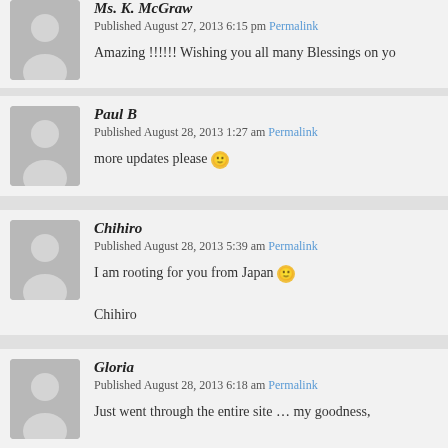Ms. K. McGraw
Published August 27, 2013 6:15 pm Permalink
Amazing !!!!!! Wishing you all many Blessings on yo
Paul B
Published August 28, 2013 1:27 am Permalink
more updates please 🙂
Chihiro
Published August 28, 2013 5:39 am Permalink
I am rooting for you from Japan 🙂

Chihiro
Gloria
Published August 28, 2013 6:18 am Permalink
Just went through the entire site … my goodness,